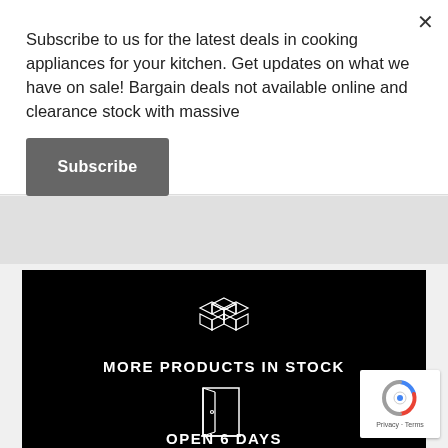Subscribe to us for the latest deals in cooking appliances for your kitchen. Get updates on what we have on sale! Bargain deals not available online and clearance stock with massive
Subscribe
[Figure (illustration): Stack of three boxes icon rendered in white outline on black background]
MORE PRODUCTS IN STOCK
[Figure (illustration): Open door icon rendered in white outline on black background]
OPEN 6 DAYS
[Figure (illustration): Google reCAPTCHA badge with spinning arrows logo and Privacy - Terms text]